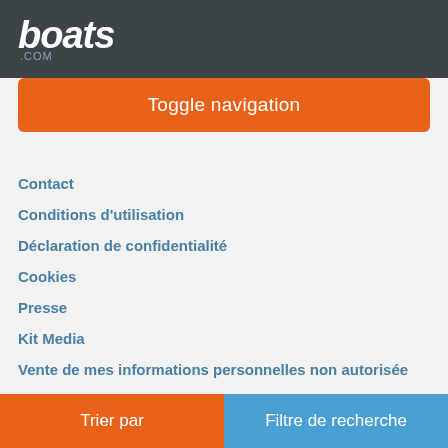boats.com
Toggle navigation
Contact
Conditions d'utilisation
Déclaration de confidentialité
Cookies
Presse
Kit Media
Vente de mes informations personnelles non autorisée
Ressources
Assurance
Suivre boats.com
[Figure (other): Social media icon buttons (4 dark rounded rectangles)]
Trier par
Filtre de recherche